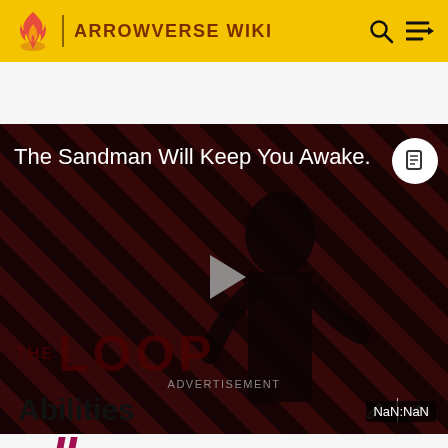ARROWVERSE WIKI
[Figure (screenshot): Video player showing 'The Sandman Will Keep You Awake.' title with a dark-clad figure on a diagonal striped red/black background, play button in center, THE LOOP logo at bottom, NaN:NaN timestamp]
ADVERTISEMENT
Abilities
"